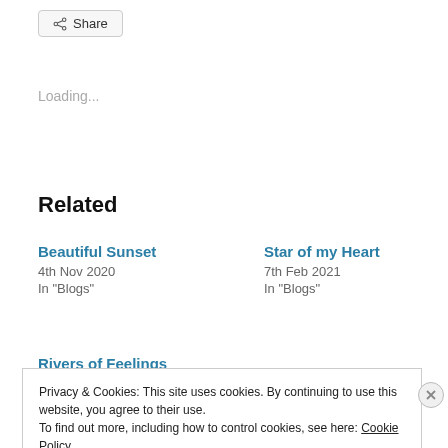[Figure (other): Share button with share icon]
Loading...
Related
Beautiful Sunset
4th Nov 2020
In "Blogs"
Star of my Heart
7th Feb 2021
In "Blogs"
Rivers of Feelings
Privacy & Cookies: This site uses cookies. By continuing to use this website, you agree to their use.
To find out more, including how to control cookies, see here: Cookie Policy
Close and accept